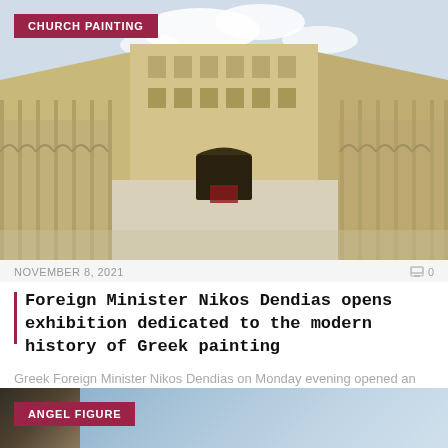[Figure (photo): Aerial courtyard view of a classical Italian Renaissance building with arched colonnades on multiple floors, white columns, and a partly cloudy sky visible above]
CHURCH PAINTING
NOVEMBER 8, 2021    0
Foreign Minister Nikos Dendias opens exhibition dedicated to the modern history of Greek painting
Greek Foreign Minister Nikos Dendias on Monday evening opened an exhibition in Vatican City devoted...
[Figure (photo): Partial view of an image labeled ANGEL FIGURE with a blue sky background and some dark figures visible at bottom left]